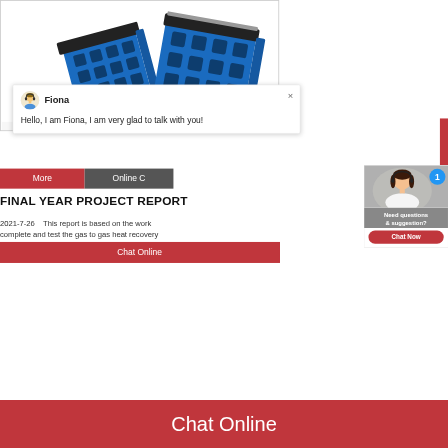[Figure (photo): Blue industrial cable carrier / energy chain components, two pieces shown against white background]
[Figure (screenshot): Live chat popup with avatar of Fiona (customer service agent with headset illustration), name 'Fiona', message 'Hello, I am Fiona, I am very glad to talk with you!', and close X button]
More
Online C
FINAL YEAR PROJECT REPORT
2021-7-26    This report is based on the work complete and test the gas to gas heat recovery
[Figure (photo): Customer service representative (woman with headset) with notification badge showing '1', and panel showing 'Need questions & suggestion?' with 'Chat Now' button]
Chat Online